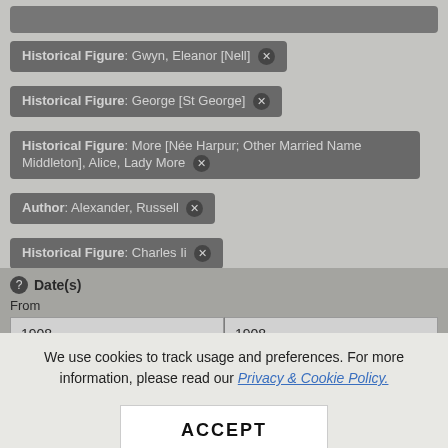Historical Figure: Gwyn, Eleanor [Nell]
Historical Figure: George [St George]
Historical Figure: More [Née Harpur; Other Married Name Middleton], Alice, Lady More
Author: Alexander, Russell
Historical Figure: Charles Ii
Pageant Type: London
Historical Figure: Holbein, Hans, The Younger
Date(s)
From
1908
1908
We use cookies to track usage and preferences. For more information, please read our Privacy & Cookie Policy.
ACCEPT